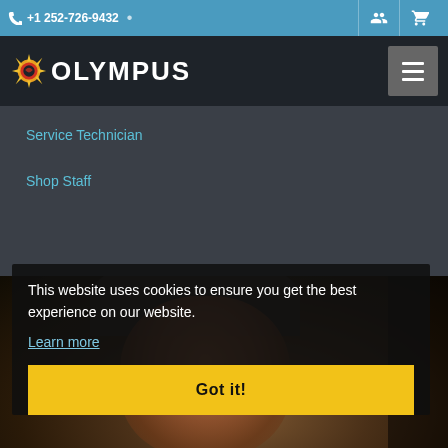+1 252-726-9432
OLYMPUS
Service Technician
Shop Staff
[Figure (photo): Partial photo of a person wearing a dark hat, cropped showing top of head/face]
This website uses cookies to ensure you get the best experience on our website. Learn more
Got it!